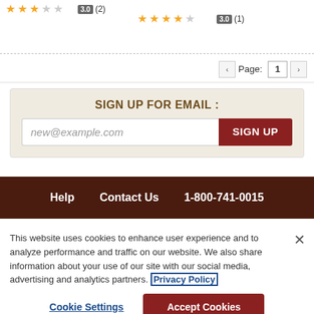[Figure (other): Star rating widget showing 3.0 out of 5 stars (2 reviews) on the left and 3.0 out of 5 stars (1 review) on the right with orange filled stars and gray empty stars]
Page: 1
SIGN UP FOR EMAIL :
new@example.com
SIGN UP
Help   Contact Us   1-800-741-0015
This website uses cookies to enhance user experience and to analyze performance and traffic on our website. We also share information about your use of our site with our social media, advertising and analytics partners. Privacy Policy
Cookie Settings
Accept Cookies